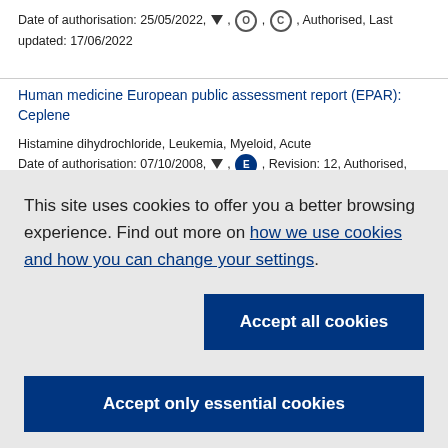Date of authorisation: 25/05/2022, ▼, O, C, Authorised, Last updated: 17/06/2022
Human medicine European public assessment report (EPAR): Ceplene
Histamine dihydrochloride, Leukemia, Myeloid, Acute
Date of authorisation: 07/10/2008, ▼, E, Revision: 12, Authorised, Last updated: 01/08/2018
This site uses cookies to offer you a better browsing experience. Find out more on how we use cookies and how you can change your settings.
Accept all cookies
Accept only essential cookies